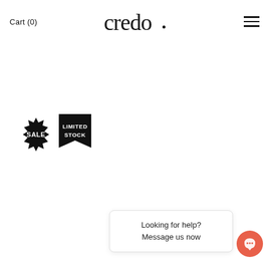Cart (0)  Credo  [hamburger menu]
[Figure (logo): Credo script/handwritten logo centered in header]
[Figure (infographic): Two badges: a black starburst SALE badge and a black pennant LIMITED STOCK badge]
Looking for help?
Message us now